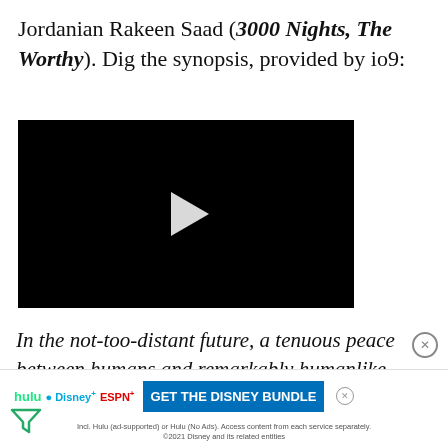Jordanian Rakeen Saad (3000 Nights, The Worthy). Dig the synopsis, provided by io9:
[Figure (other): Black video player with white play button triangle in center]
In the not-too-distant future, a tenuous peace between humans and remarkably humanlike “machines”–some don’t even know they’re not real–is tested when synthetics begin spontaneously... (text cut off by ad)
[Figure (other): Hulu Disney+ ESPN+ advertisement banner: GET THE DISNEY BUNDLE. Incl. Hulu (ad-supported) or Hulu (No Ads). Access content from each service separately. ©2021 Disney and its related entities]